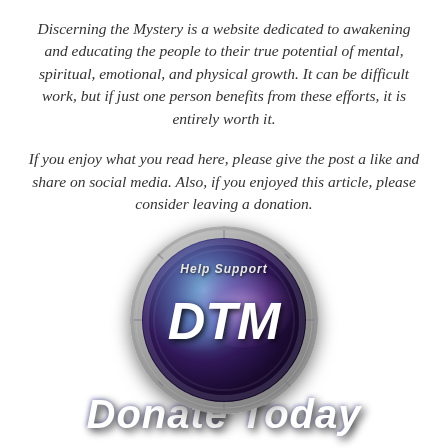Discerning the Mystery is a website dedicated to awakening and educating the people to their true potential of mental, spiritual, emotional, and physical growth. It can be difficult work, but if just one person benefits from these efforts, it is entirely worth it.
If you enjoy what you read here, please give the post a like and share on social media. Also, if you enjoyed this article, please consider leaving a donation.
[Figure (illustration): Circular coin/badge graphic with a space nebula background. Text reads 'Help Support' at the top in small italic bold font, 'DTM' in large bold italic white letters in the center, and 'Donate Today' in large bold italic white letters below the coin.]